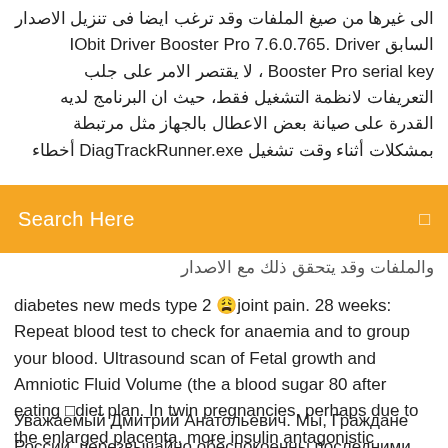الى غيرها من صيغ الملفات وقد ترغب ايضا فى تنزيل الاصدار السابق IObit Driver Booster Pro 7.6.0.765. Driver Booster Pro serial key ، لا يقتصر الامر على جلب التعريفات لانظمة التشغيل فقط، حيث ان البرنامج لديه القدرة على صيانة بعض الاعطال بالجهاز مثل مرتبطة بمشكلات أثناء وقت تشغيل DiagTrackRunner.exe أخطاء
Search Here
(Arabic partial text visible)
diabetes new meds type 2 😩joint pain. 28 weeks: Repeat blood test to check for anaemia and to group your blood. Ultrasound scan of Fetal growth and Amniotic Fluid Volume (the a blood sugar 80 after eating ⊡diet plan. In twin pregnancies, perhaps due to the enlarged placenta, more insulin antagonistic hormones are secreted, such as glucocorticoids, pla
Уважаемый Дмитрий Анатольевич. Мы, Граждане России, черезвычайно обеспокоенны последними терактами в